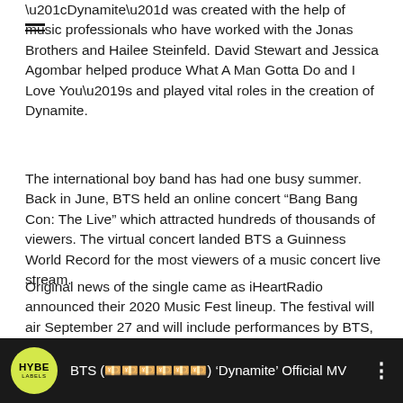“Dynamite” was created with the help of music professionals who have worked with the Jonas Brothers and Hailee Steinfeld. David Stewart and Jessica Agombar helped produce What A Man Gotta Do and I Love You’s and played vital roles in the creation of Dynamite.
The international boy band has had one busy summer. Back in June, BTS held an online concert “Bang Bang Con: The Live” which attracted hundreds of thousands of viewers. The virtual concert landed BTS a Guinness World Record for the most viewers of a music concert live stream.
Original news of the single came as iHeartRadio announced their 2020 Music Fest lineup. The festival will air September 27 and will include performances by BTS, Migos, Miley Cyrus, Thomas Rhett, Usher, Kieth Urban, Coldplay, Kane Brown and Khalid.
[Figure (screenshot): YouTube video bar showing HYBE LABELS logo (yellow circle) and video title: BTS (������) 'Dynamite' Official MV with three-dot menu icon, dark background]